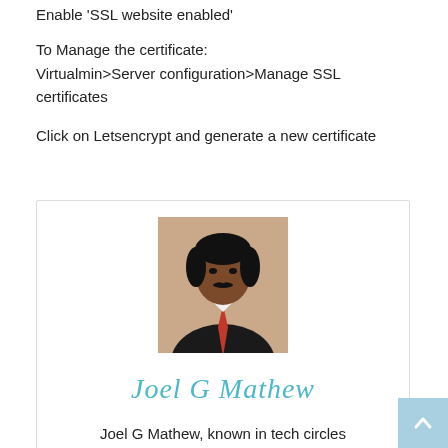Enable 'SSL website enabled'
To Manage the certificate:
Virtualmin>Server configuration>Manage SSL certificates
Click on Letsencrypt and generate a new certificate
[Figure (photo): Portrait photo of Joel G Mathew in a suit with a red tie, against a beige background. Below is a cursive signature reading 'Joel G Mathew' in teal/cyan color.]
Joel G Mathew, known in tech circles